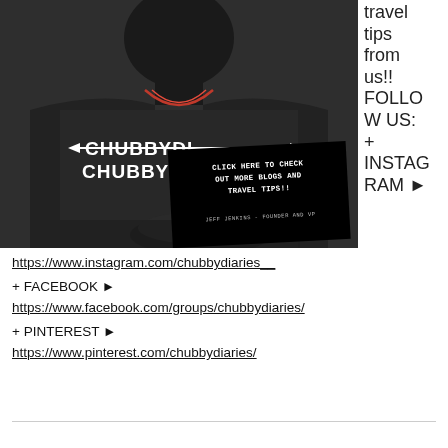[Figure (photo): A person wearing a dark hoodie with 'chubbydiaries.com' text, seated in a car or restaurant, holding a plate of food. An overlay card in the bottom-right reads 'CLICK HERE TO CHECK OUT MORE BLOGS AND TRAVEL TIPS!! JEFF JENKINS - FOUNDER AND VP'. To the right of the photo, text reads 'travel tips from us!! FOLLOW US: + INSTAGRAM ►']
https://www.instagram.com/chubbydiaries__
+ FACEBOOK ► https://www.facebook.com/groups/chubbydiaries/
+ PINTEREST ► https://www.pinterest.com/chubbydiaries/